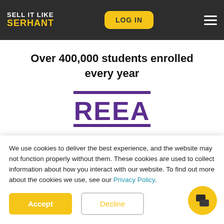SELL IT LIKE SERHANT | LOG IN
Over 400,000 students enrolled every year
[Figure (logo): REEA logo — purple text REEA with horizontal purple lines above and below]
2020 Online Education Program of the Year by Real Estate Educators Association
We use cookies to deliver the best experience, and the website may not function properly without them. These cookies are used to collect information about how you interact with our website. To find out more about the cookies we use, see our Privacy Policy.
Accept
Decline